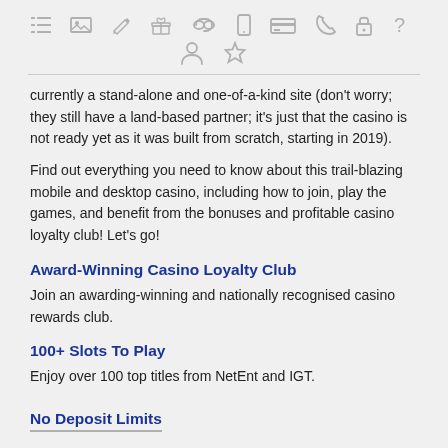[Figure (other): Row of gray icons: list/menu, image, pencil, gift, link/chain, mobile phone, credit card, phone, lock, question mark; second row with person/user and star icons]
currently a stand-alone and one-of-a-kind site (don't worry; they still have a land-based partner; it's just that the casino is not ready yet as it was built from scratch, starting in 2019).
Find out everything you need to know about this trail-blazing mobile and desktop casino, including how to join, play the games, and benefit from the bonuses and profitable casino loyalty club! Let's go!
Award-Winning Casino Loyalty Club
Join an awarding-winning and nationally recognised casino rewards club.
100+ Slots To Play
Enjoy over 100 top titles from NetEnt and IGT.
No Deposit Limits